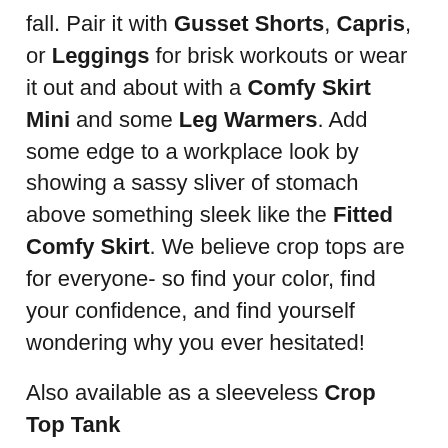fall. Pair it with Gusset Shorts, Capris, or Leggings for brisk workouts or wear it out and about with a Comfy Skirt Mini and some Leg Warmers. Add some edge to a workplace look by showing a sassy sliver of stomach above something sleek like the Fitted Comfy Skirt. We believe crop tops are for everyone- so find your color, find your confidence, and find yourself wondering why you ever hesitated!
Also available as a sleeveless Crop Top Tank
Black :: 52% hemp / 45% organic cotton / 3% spandex
All other colors :: 95% organic cotton / 5% lycra
Long sleeve